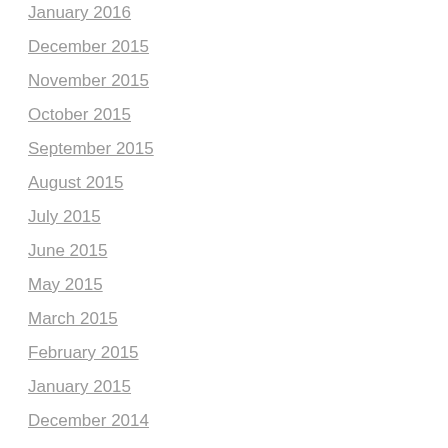January 2016
December 2015
November 2015
October 2015
September 2015
August 2015
July 2015
June 2015
May 2015
March 2015
February 2015
January 2015
December 2014
November 2014
October 2014
September 2014
July 2014
June 2014
May 2014